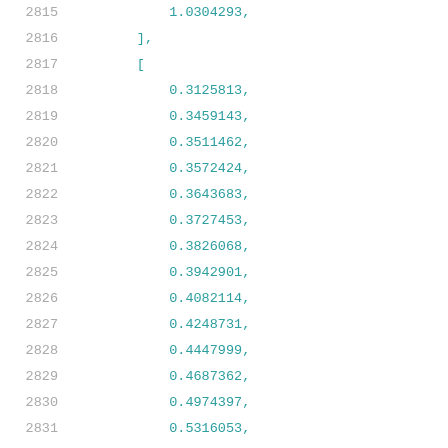2815  1.0304293,
2816  ],
2817  [
2818  0.3125813,
2819  0.3459143,
2820  0.3511462,
2821  0.3572424,
2822  0.3643683,
2823  0.3727453,
2824  0.3826068,
2825  0.3942901,
2826  0.4082114,
2827  0.4248731,
2828  0.4447999,
2829  0.4687362,
2830  0.4974397,
2831  0.5316053,
2832  0.5728028,
2833  0.6221834,
2834  0.6812976,
2835  0.7524002,
2836  0.8374194,